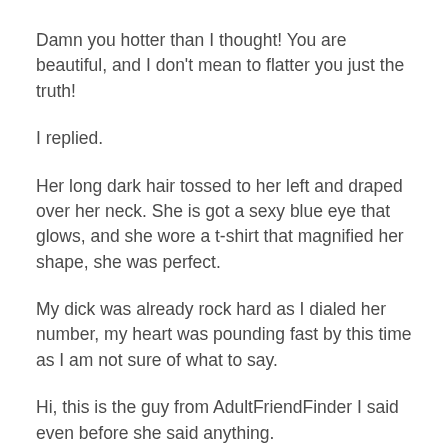Damn you hotter than I thought! You are beautiful, and I don't mean to flatter you just the truth!
I replied.
Her long dark hair tossed to her left and draped over her neck. She is got a sexy blue eye that glows, and she wore a t-shirt that magnified her shape, she was perfect.
My dick was already rock hard as I dialed her number, my heart was pounding fast by this time as I am not sure of what to say.
Hi, this is the guy from AdultFriendFinder I said even before she said anything.